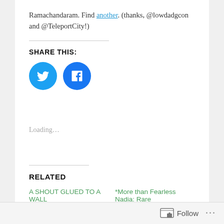Ramachandaram. Find another. (thanks, @lowdadgcon and @TeleportCity!)
SHARE THIS:
[Figure (other): Twitter and Facebook share buttons as blue circular icons]
Loading...
RELATED
A SHOUT GLUED TO A WALL
*More than Fearless Nadia: Rare
Follow ...